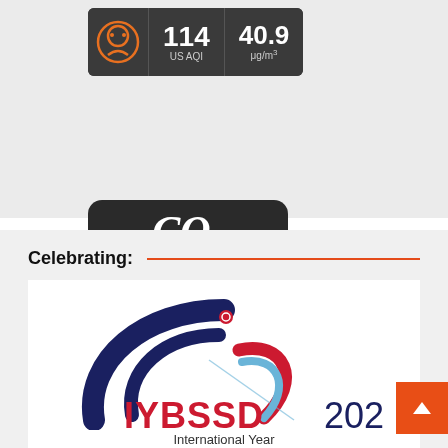[Figure (screenshot): Air quality widget showing US AQI of 114 and 40.9 μg/m³ on dark background]
[Figure (screenshot): CO2 widget showing ↑416.96 ppm for July 2021 with Info button, dark rounded square]
Celebrating:
[Figure (logo): IYBSSD 2022 logo - International Year of Basic Sciences for Sustainable Development, with dark blue crescent and red/light blue swoosh, text IYBSSD2022 and International Year below]